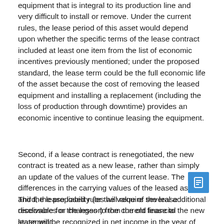equipment that is integral to its production line and very difficult to install or remove. Under the current rules, the lease period of this asset would depend upon whether the specific terms of the lease contract included at least one item from the list of economic incentives previously mentioned; under the proposed standard, the lease term could be the full economic life of the asset because the cost of removing the leased equipment and installing a replacement (including the loss of production through downtime) provides an economic incentive to continue leasing the equipment.
Second, if a lease contract is renegotiated, the new contract is treated as a new lease, rather than simply an update of the values of the current lease. The differences in the carrying values of the leased asset and the lease liability (or the value of the lease receivable for the lessor) from the old lease to the new lease will be recognized in net income in the year of the change (proposed ASC 842-10-25-13).
Third, the proposed rules will require several additional disclosures or changes to the current financial statement